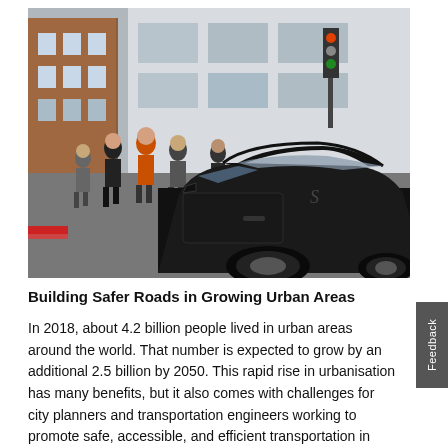[Figure (photo): Urban street scene showing a black SUV/car in the foreground with pedestrians crossing the street in the background. Buildings and traffic lights are visible. The setting appears to be a busy city intersection, likely in the UK.]
Building Safer Roads in Growing Urban Areas
In 2018, about 4.2 billion people lived in urban areas around the world. That number is expected to grow by an additional 2.5 billion by 2050. This rapid rise in urbanisation has many benefits, but it also comes with challenges for city planners and transportation engineers working to promote safe, accessible, and efficient transportation in their cities. Learn more about the ste you can take to improve safety and mobility on urban roads.